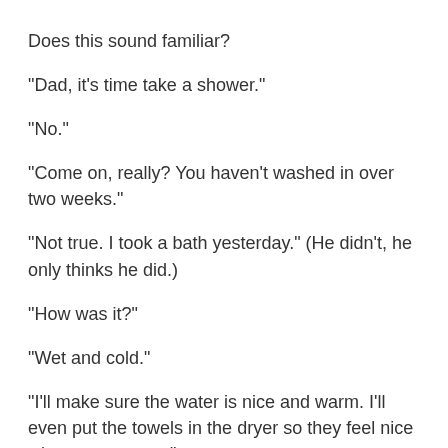Does this sound familiar?
“Dad, it’s time take a shower.”
“No.”
“Come on, really? You haven’t washed in over two weeks.”
“Not true. I took a bath yesterday.” (He didn’t, he only thinks he did.)
“How was it?”
“Wet and cold.”
“I’ll make sure the water is nice and warm. I’ll even put the towels in the dryer so they feel nice when you get out.”
“People don’t have to take a shower all the time. You think